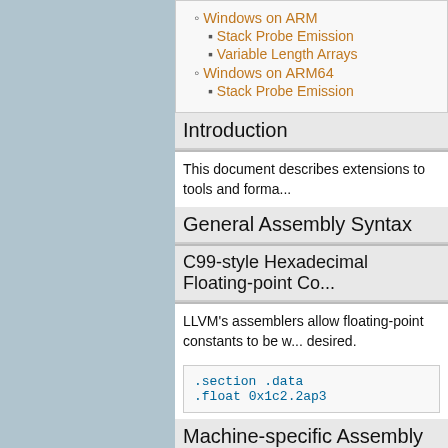Windows on ARM
Stack Probe Emission
Variable Length Arrays
Windows on ARM64
Stack Probe Emission
Introduction
This document describes extensions to tools and forma...
General Assembly Syntax
C99-style Hexadecimal Floating-point Co...
LLVM's assemblers allow floating-point constants to be w... desired.
.section .data
.float 0x1c2.2ap3
Machine-specific Assembly Syntax